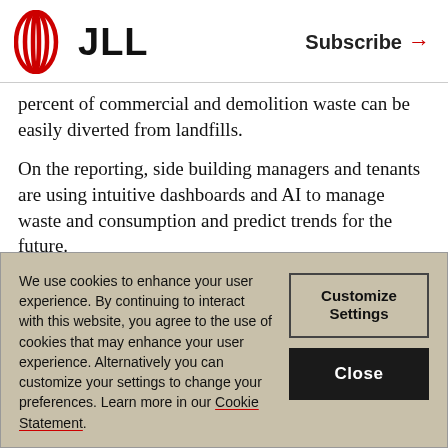JLL | Subscribe →
percent of commercial and demolition waste can be easily diverted from landfills.
On the reporting, side building managers and tenants are using intuitive dashboards and AI to manage waste and consumption and predict trends for the future.
We use cookies to enhance your user experience. By continuing to interact with this website, you agree to the use of cookies that may enhance your user experience. Alternatively you can customize your settings to change your preferences. Learn more in our Cookie Statement.
Customize Settings
Close